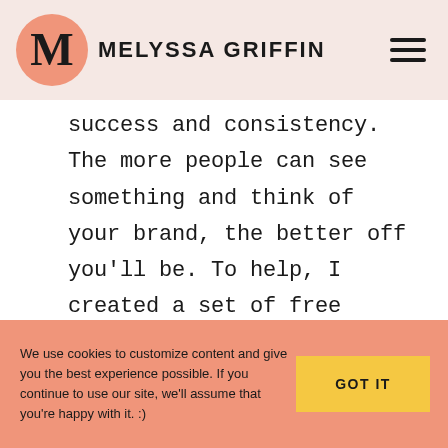MELYSSA GRIFFIN
success and consistency. The more people can see something and think of your brand, the better off you'll be. To help, I created a set of free worksheets so that you can create your own style guide. Just sign up below and it will be emailed to you right away. 🙂
We use cookies to customize content and give you the best experience possible. If you continue to use our site, we'll assume that you're happy with it. :)